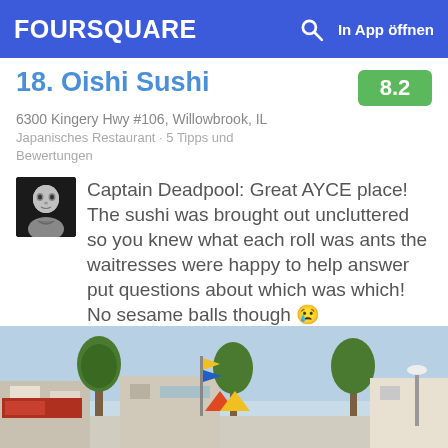FOURSQUARE  In App öffnen
18. Oishi Sushi
6300 Kingery Hwy #106, Willowbrook, IL
Japanisches Restaurant · 5 Tipps und Bewertungen
Captain Deadpool: Great AYCE place! The sushi was brought out uncluttered so you knew what each roll was ants the waitresses were happy to help answer put questions about which was which! No sesame balls though 😢
[Figure (photo): Outdoor street-level photo showing storefronts, trees, and a clear blue sky in Willowbrook, IL]